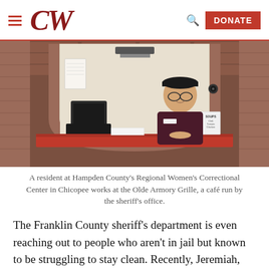CW
[Figure (photo): A woman in a dark cap and maroon shirt smiles behind a red counter at the Olde Armory Grille café. She stands under a large arched brick alcove. A computer monitor and printer are visible on the counter along with a soups menu sign.]
A resident at Hampden County's Regional Women's Correctional Center in Chicopee works at the Olde Armory Grille, a café run by the sheriff's office.
The Franklin County sheriff's department is even reaching out to people who aren't in jail but known to be struggling to stay clean. Recently, Jeremiah, who cycled through the Franklin County jail before its